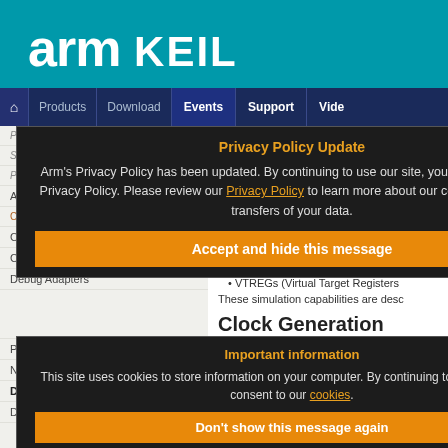arm KEIL
Products | Download | Events | Support | Video
Home / Device Database
Peripheral Simulation
For Infineon XC2268N-40F — Clock Management
Simulation support for this peripheral:
Dialog boxes which display and a
VTREGs (Virtual Target Registers)
These simulation capabilities are desc
Clock Generation Dialog
The Clock Generation dialog displays
Privacy Policy Update
Arm's Privacy Policy has been updated. By continuing to use our site, you consent to Arm's Privacy Policy. Please review our Privacy Policy to learn more about our collection, use and transfers of your data.
Accept and hide this message
Important information
This site uses cookies to store information on your computer. By continuing to use our site, you consent to our cookies.
Don't show this message again
Change Settings